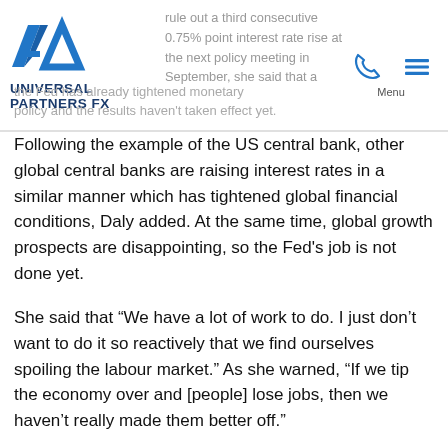Universal Partners FX — header with logo, phone and menu icons
Following the example of the US central bank, other global central banks are raising interest rates in a similar manner which has tightened global financial conditions, Daly added. At the same time, global growth prospects are disappointing, so the Fed's job is not done yet.
She said that “We have a lot of work to do. I just don’t want to do it so reactively that we find ourselves spoiling the labour market.” As she warned, “If we tip the economy over and [people] lose jobs, then we haven’t really made them better off.”
“There’s good news on the month-to-month data that consumers and business are getting some relief, but inflation remains far too high and not near our price stability goal,” Daly said.